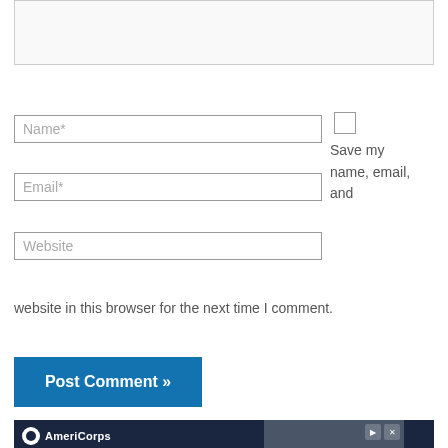[Figure (screenshot): Comment form with textarea, Name, Email, Website input fields, checkbox with label 'Save my name, email, and website in this browser for the next time I comment.', a Post Comment button, and an AmeriCorps advertisement banner at the bottom.]